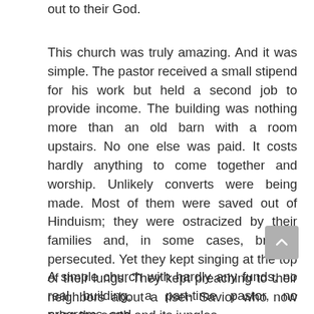out to their God.
This church was truly amazing. And it was simple. The pastor received a small stipend for his work but held a second job to provide income. The building was nothing more than an old barn with a room upstairs. No one else was paid. It costs hardly anything to come together and worship. Unlikely converts were being made. Most of them were saved out of Hinduism; they were ostracized by their families and, in some cases, brutally persecuted. Yet they kept singing at the top of their lungs. They kept preaching to their neighbors about a risen Savior who now rules the earth and its jungles.
A simple church with hardly any funds, no real building, a part-time pastor, no programs, and